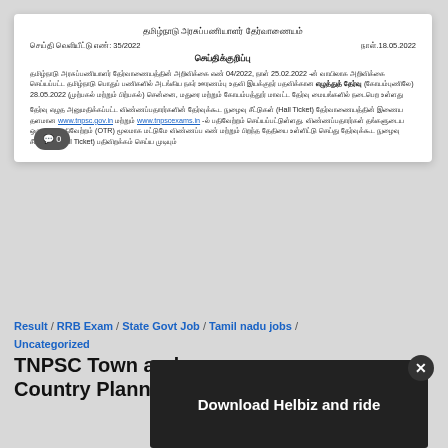[Figure (screenshot): Tamil Nadu Public Service Commission official notice document in Tamil language, with header, press release number, date, and body text about an exam announcement.]
Result / RRB Exam / State Govt Job / Tamil nadu jobs / Uncategorized
TNPSC Town and Country Planning Admit Card 2022